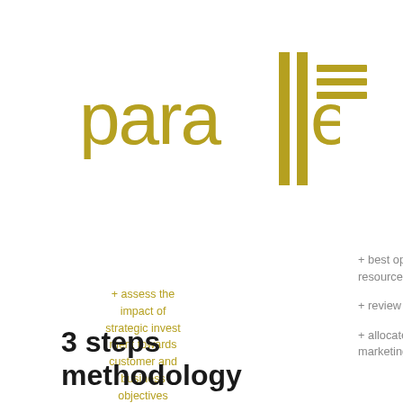[Figure (logo): Parallell logo in gold/olive color, stylized text]
[Figure (illustration): Hamburger menu icon with three horizontal gold bars]
+ assess the impact of strategic investment towards customer and business objectives
3 steps methodology
+ best opportunities for growth (media, tools, human resources)
+ review budget principles and KPIs metrics
+ allocate marketing resources appropriately and focused marketing spend.